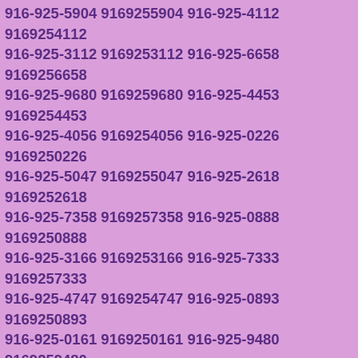916-925-5904 9169255904 916-925-4112 9169254112 916-925-3112 9169253112 916-925-6658 9169256658 916-925-9680 9169259680 916-925-4453 9169254453 916-925-4056 9169254056 916-925-0226 9169250226 916-925-5047 9169255047 916-925-2618 9169252618 916-925-7358 9169257358 916-925-0888 9169250888 916-925-3166 9169253166 916-925-7333 9169257333 916-925-4747 9169254747 916-925-0893 9169250893 916-925-0161 9169250161 916-925-9480 9169259480 916-925-5510 9169255510 916-925-9926 9169259926 916-925-9390 9169259390 916-925-2961 9169252961 916-925-6904 9169256904 916-925-3412 9169253412 916-925-4137 9169254137 916-925-6755 9169256755 916-925-7021 9169257021 916-925-4890 9169254890 916-925-9577 9169259577 916-925-2055 9169252055 916-925-3074 9169253074 916-925-1105 9169251105 916-925-6529 9169256529 916-925-0276 9169250276 916-925-0554 9169250554 916-925-6840 9169256840 916-925-8535 9169258535 916-925-7022 9169257022 916-925-9201 9169259201 916-925-2847 9169252847 916-925-8622 9169258622 916-925-4146 9169254146